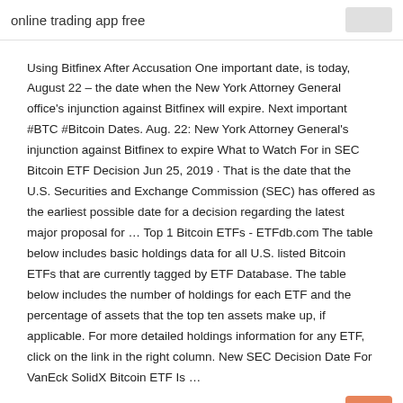online trading app free
Using Bitfinex After Accusation One important date, is today, August 22 – the date when the New York Attorney General office's injunction against Bitfinex will expire. Next important #BTC #Bitcoin Dates. Aug. 22: New York Attorney General's injunction against Bitfinex to expire What to Watch For in SEC Bitcoin ETF Decision Jun 25, 2019 · That is the date that the U.S. Securities and Exchange Commission (SEC) has offered as the earliest possible date for a decision regarding the latest major proposal for … Top 1 Bitcoin ETFs - ETFdb.com The table below includes basic holdings data for all U.S. listed Bitcoin ETFs that are currently tagged by ETF Database. The table below includes the number of holdings for each ETF and the percentage of assets that the top ten assets make up, if applicable. For more detailed holdings information for any ETF, click on the link in the right column. New SEC Decision Date For VanEck SolidX Bitcoin ETF Is …
Sep 27, 2018 · Investors are